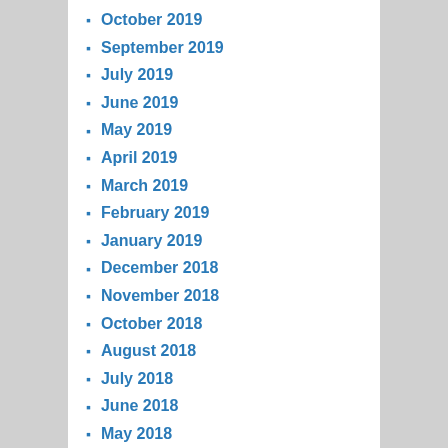October 2019
September 2019
July 2019
June 2019
May 2019
April 2019
March 2019
February 2019
January 2019
December 2018
November 2018
October 2018
August 2018
July 2018
June 2018
May 2018
March 2018
February 2018
January 2018
December 2017
October 2017